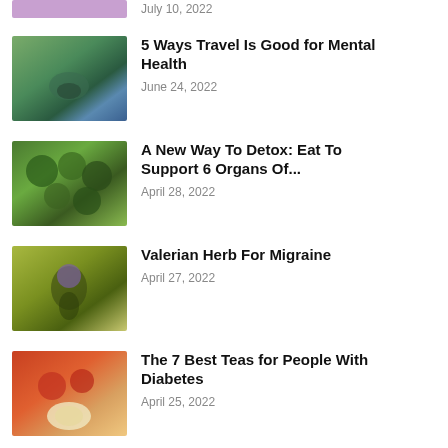[Figure (photo): Partial purple/pink banner image cropped at top]
July 10, 2022
[Figure (photo): Woman standing in a scenic mountain landscape with a lake]
5 Ways Travel Is Good for Mental Health
June 24, 2022
[Figure (photo): Close-up of green vegetables and herbs from above]
A New Way To Detox: Eat To Support 6 Organs Of...
April 28, 2022
[Figure (photo): Close-up of a valerian herb plant with purple flowers]
Valerian Herb For Migraine
April 27, 2022
[Figure (photo): Hands holding a cup of tea with fruits and jars around]
The 7 Best Teas for People With Diabetes
April 25, 2022